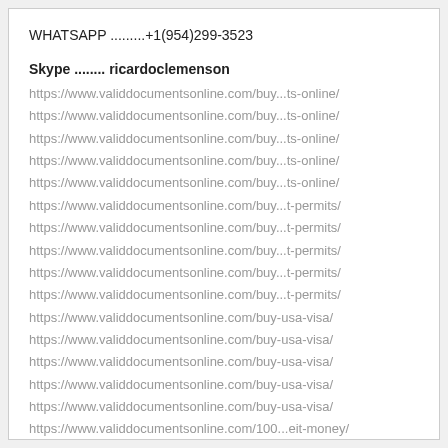WHATSAPP .........+1(954)299-3523
Skype ........ ricardoclemenson
https://www.validdocumentsonline.com/buy...ts-online/
https://www.validdocumentsonline.com/buy...ts-online/
https://www.validdocumentsonline.com/buy...ts-online/
https://www.validdocumentsonline.com/buy...ts-online/
https://www.validdocumentsonline.com/buy...ts-online/
https://www.validdocumentsonline.com/buy...t-permits/
https://www.validdocumentsonline.com/buy...t-permits/
https://www.validdocumentsonline.com/buy...t-permits/
https://www.validdocumentsonline.com/buy...t-permits/
https://www.validdocumentsonline.com/buy...t-permits/
https://www.validdocumentsonline.com/buy-usa-visa/
https://www.validdocumentsonline.com/buy-usa-visa/
https://www.validdocumentsonline.com/buy-usa-visa/
https://www.validdocumentsonline.com/buy-usa-visa/
https://www.validdocumentsonline.com/buy-usa-visa/
https://www.validdocumentsonline.com/100...eit-money/
https://www.validdocumentsonline.com/100...eit-money/
https://www.validdocumentsonline.com/about-us/
https://www.validdocumentsonline.com/about-us/